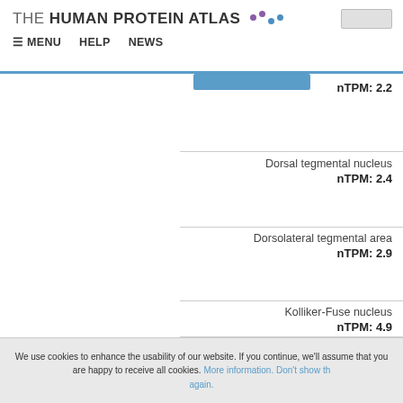THE HUMAN PROTEIN ATLAS — MENU | HELP | NEWS
nTPM: 2.2
Dorsal tegmental nucleus
nTPM: 2.4
Dorsolateral tegmental area
nTPM: 2.9
Kolliker-Fuse nucleus
nTPM: 4.9
We use cookies to enhance the usability of our website. If you continue, we'll assume that you are happy to receive all cookies. More information. Don't show this again.